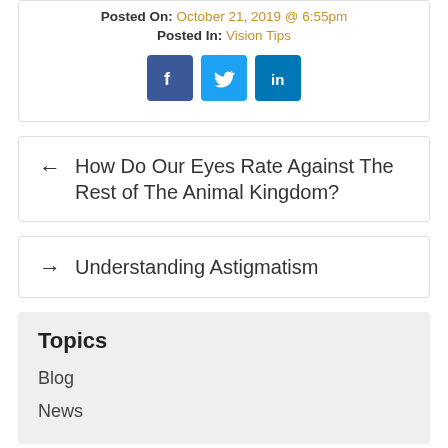Posted On: October 21, 2019 @ 6:55pm
Posted In: Vision Tips
[Figure (infographic): Social media share icons: Facebook, Twitter, LinkedIn]
← How Do Our Eyes Rate Against The Rest of The Animal Kingdom?
→ Understanding Astigmatism
Topics
Blog
News